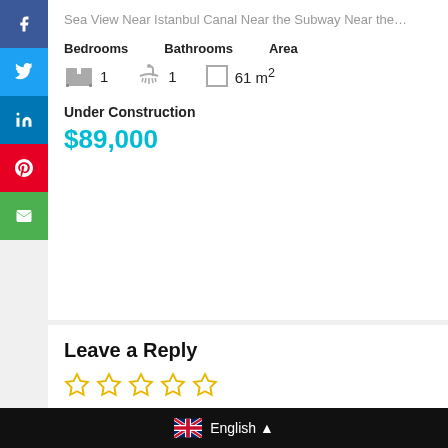Sea View Near Istanbul Canal Near the Subway Near the…
Bedrooms   Bathrooms   Area
1  1  61 m²
Under Construction
$89,000
Leave a Reply
Your email address will not be published. Required fields are marked*
Comment
English